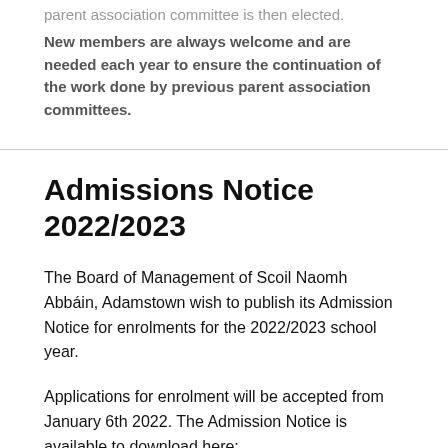parent association committee is then elected.
New members are always welcome and are needed each year to ensure the continuation of the work done by previous parent association committees.
Admissions Notice 2022/2023
The Board of Management of Scoil Naomh Abbáin, Adamstown wish to publish its Admission Notice for enrolments for the 2022/2023 school year.
Applications for enrolment will be accepted from January 6th 2022. The Admission Notice is available to download here: